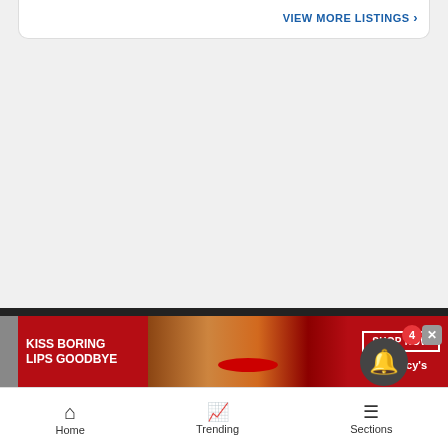VIEW MORE LISTINGS »
YOUR AD HERE »
[Figure (photo): Macy's advertisement banner: woman with red lipstick, text 'KISS BORING LIPS GOODBYE', 'SHOP NOW', and Macy's star logo]
Home   Trending   Sections